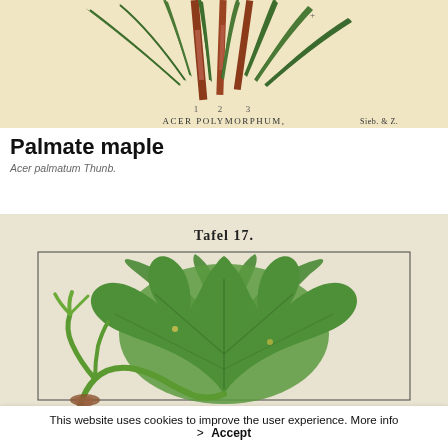[Figure (illustration): Botanical illustration of Acer polymorphum (palmate maple) showing palm-like leaves on reddish-brown stems against a beige background, with label 'ACER POLYMORPHUM, Sieb. & Z.' and numbered figures 1, 2, 3]
Palmate maple
Acer palmatum Thunb.
[Figure (illustration): Botanical illustration labeled 'Tafel 17.' showing a large green palmately-lobed maple leaf with green stems/petioles against a light background, framed by a thin black border]
This website uses cookies to improve the user experience. More info
> Accept